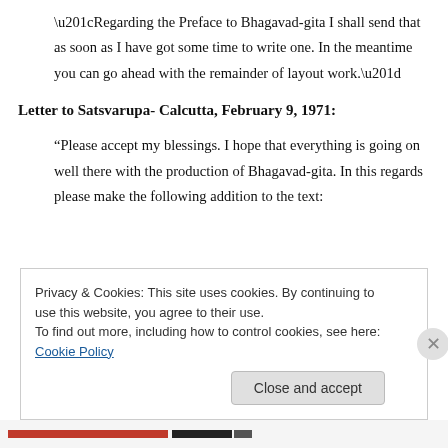“Regarding the Preface to Bhagavad-gita I shall send that as soon as I have got some time to write one. In the meantime you can go ahead with the remainder of layout work.”
Letter to Satsvarupa- Calcutta, February 9, 1971:
“Please accept my blessings. I hope that everything is going on well there with the production of Bhagavad-gita. In this regards please make the following addition to the text:
Privacy & Cookies: This site uses cookies. By continuing to use this website, you agree to their use.
To find out more, including how to control cookies, see here: Cookie Policy